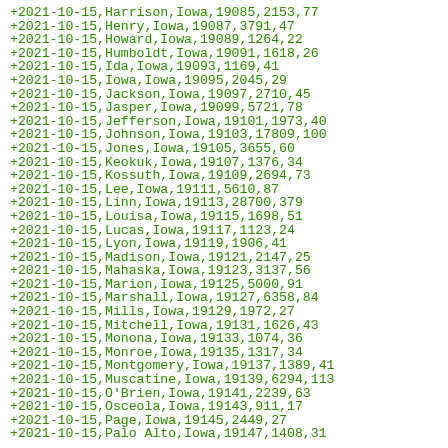| date | county | state | fips | cases | deaths |
| --- | --- | --- | --- | --- | --- |
| 2021-10-15 | Harrison | Iowa | 19085 | 2153 | 77 |
| 2021-10-15 | Henry | Iowa | 19087 | 3791 | 47 |
| 2021-10-15 | Howard | Iowa | 19089 | 1264 | 22 |
| 2021-10-15 | Humboldt | Iowa | 19091 | 1618 | 26 |
| 2021-10-15 | Ida | Iowa | 19093 | 1169 | 41 |
| 2021-10-15 | Iowa | Iowa | 19095 | 2045 | 29 |
| 2021-10-15 | Jackson | Iowa | 19097 | 2710 | 45 |
| 2021-10-15 | Jasper | Iowa | 19099 | 5721 | 78 |
| 2021-10-15 | Jefferson | Iowa | 19101 | 1973 | 40 |
| 2021-10-15 | Johnson | Iowa | 19103 | 17809 | 100 |
| 2021-10-15 | Jones | Iowa | 19105 | 3655 | 60 |
| 2021-10-15 | Keokuk | Iowa | 19107 | 1376 | 34 |
| 2021-10-15 | Kossuth | Iowa | 19109 | 2694 | 73 |
| 2021-10-15 | Lee | Iowa | 19111 | 5610 | 87 |
| 2021-10-15 | Linn | Iowa | 19113 | 28700 | 379 |
| 2021-10-15 | Louisa | Iowa | 19115 | 1698 | 51 |
| 2021-10-15 | Lucas | Iowa | 19117 | 1123 | 24 |
| 2021-10-15 | Lyon | Iowa | 19119 | 1906 | 41 |
| 2021-10-15 | Madison | Iowa | 19121 | 2147 | 25 |
| 2021-10-15 | Mahaska | Iowa | 19123 | 3137 | 56 |
| 2021-10-15 | Marion | Iowa | 19125 | 5000 | 91 |
| 2021-10-15 | Marshall | Iowa | 19127 | 6358 | 84 |
| 2021-10-15 | Mills | Iowa | 19129 | 1972 | 27 |
| 2021-10-15 | Mitchell | Iowa | 19131 | 1626 | 43 |
| 2021-10-15 | Monona | Iowa | 19133 | 1074 | 36 |
| 2021-10-15 | Monroe | Iowa | 19135 | 1317 | 34 |
| 2021-10-15 | Montgomery | Iowa | 19137 | 1389 | 41 |
| 2021-10-15 | Muscatine | Iowa | 19139 | 6294 | 113 |
| 2021-10-15 | O'Brien | Iowa | 19141 | 2239 | 63 |
| 2021-10-15 | Osceola | Iowa | 19143 | 911 | 17 |
| 2021-10-15 | Page | Iowa | 19145 | 2449 | 27 |
| 2021-10-15 | Palo Alto | Iowa | 19147 | 1408 | 31 |